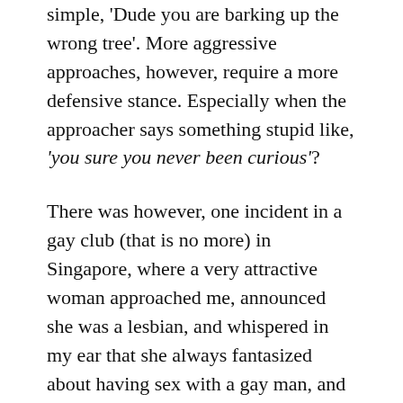simple, 'Dude you are barking up the wrong tree'. More aggressive approaches, however, require a more defensive stance. Especially when the approacher says something stupid like, 'you sure you never been curious'?
There was however, one incident in a gay club (that is no more) in Singapore, where a very attractive woman approached me, announced she was a lesbian, and whispered in my ear that she always fantasized about having sex with a gay man, and asked if I was available.
All I remember was that my brain short-circuited, and it was possibly the only moment in my life where I contemplated selling out my